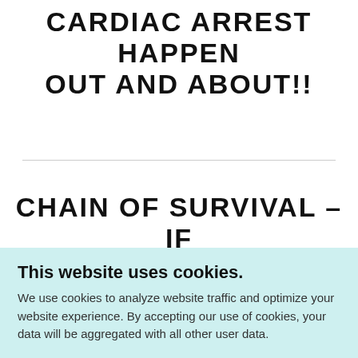CARDIAC ARREST HAPPEN OUT AND ABOUT!!
CHAIN OF SURVIVAL – IF
This website uses cookies.
We use cookies to analyze website traffic and optimize your website experience. By accepting our use of cookies, your data will be aggregated with all other user data.
ACCEPT